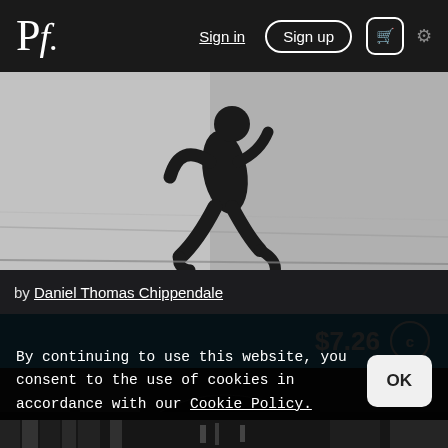Pf. Sign in  Sign up  🛒  ⚙
[Figure (photo): Black and white photo of a running person silhouette against a textured wall background]
by Daniel Thomas Chippendale
$7.26
[Figure (photo): Black and white architectural photo showing arched columns and a large dark curved shape]
By continuing to use this website, you consent to the use of cookies in accordance with our Cookie Policy.
[Figure (photo): Partial black and white photo showing architectural details, bottom strip]